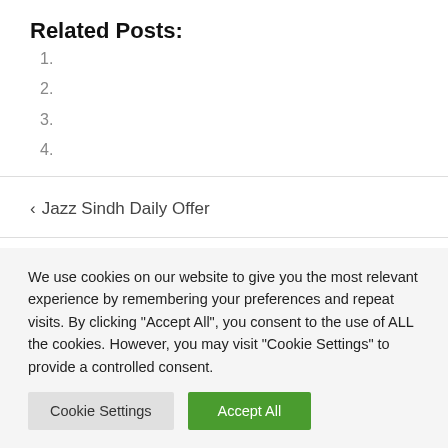Related Posts:
1.
2.
3.
4.
< Jazz Sindh Daily Offer
We use cookies on our website to give you the most relevant experience by remembering your preferences and repeat visits. By clicking "Accept All", you consent to the use of ALL the cookies. However, you may visit "Cookie Settings" to provide a controlled consent.